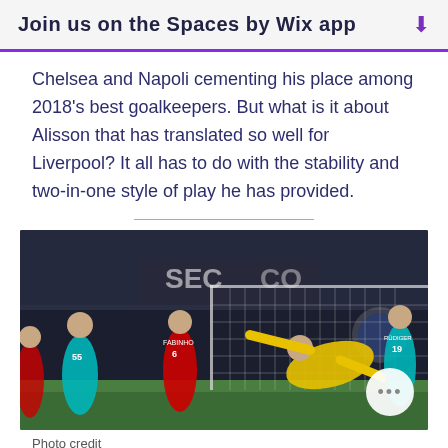Join us on the Spaces by Wix app
Chelsea and Napoli cementing his place among 2018's best goalkeepers. But what is it about Alisson that has translated so well for Liverpool? It all has to do with the stability and two-in-one style of play he has provided.
[Figure (photo): A football goalkeeper in a yellow kit making a save or diving, with players in red Liverpool kit (number 6) and blue/teal Napoli kit, in front of a crowded stadium during what appears to be a Champions League match.]
Photo credit